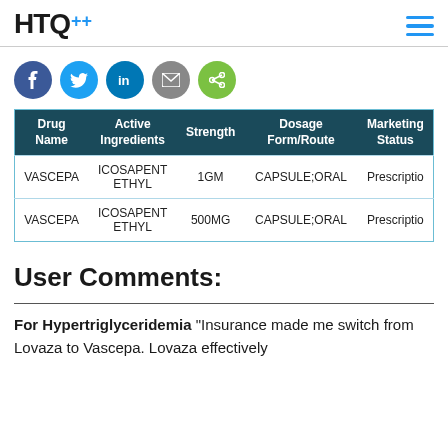HTQ+ [logo with hamburger menu]
[Figure (other): Social sharing icons row: Facebook (blue), Twitter (light blue), LinkedIn (dark blue), Email (gray), Share (green)]
| Drug Name | Active Ingredients | Strength | Dosage Form/Route | Marketing Status |
| --- | --- | --- | --- | --- |
| VASCEPA | ICOSAPENT ETHYL | 1GM | CAPSULE;ORAL | Prescription |
| VASCEPA | ICOSAPENT ETHYL | 500MG | CAPSULE;ORAL | Prescription |
User Comments:
For Hypertriglyceridemia “Insurance made me switch from Lovaza to Vascepa. Lovaza effectively